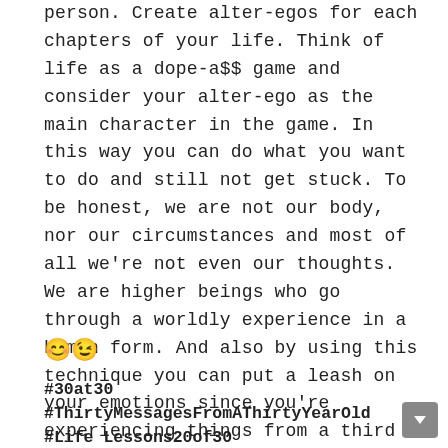person. Create alter-egos for each chapters of your life. Think of life as a dope-a$$ game and consider your alter-ego as the main character in the game. In this way you can do what you want to do and still not get stuck. To be honest, we are not our body, nor our circumstances and most of all we're not even our thoughts. We are higher beings who go through a worldly experience in a human form. And also by using this technique you can put a leash on your emotions since you're experiencing things from a third man's perspective.
😊😉
#30at30 #ThirtyMessagesFromAThirtyYearOld #LifeLessons20of30 #BirthMonthRefelection #🦂🦂🦂🦂🦂🦂🦂🦂🦂 #OctoPosts #ScorpionViews